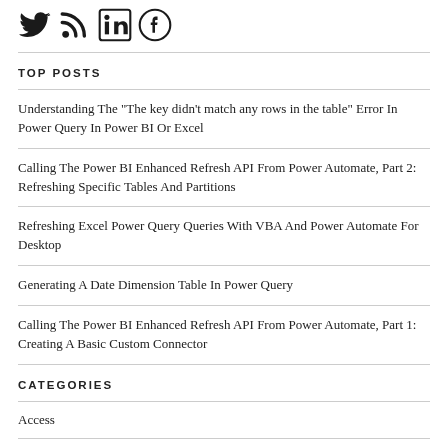[Figure (illustration): Social media icons: Twitter bird, RSS feed, LinkedIn, Facebook]
TOP POSTS
Understanding The "The key didn't match any rows in the table" Error In Power Query In Power BI Or Excel
Calling The Power BI Enhanced Refresh API From Power Automate, Part 2: Refreshing Specific Tables And Partitions
Refreshing Excel Power Query Queries With VBA And Power Automate For Desktop
Generating A Date Dimension Table In Power Query
Calling The Power BI Enhanced Refresh API From Power Automate, Part 1: Creating A Basic Custom Connector
CATEGORIES
Access
Accessibility
Adaptive Cards